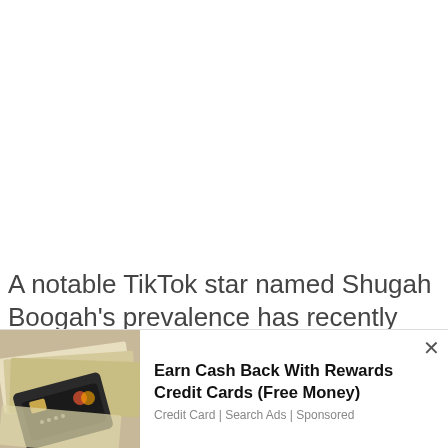A notable TikTok star named Shugah Boogah's prevalence has recently ascended to a top via web-
We use cookies on our website to give you the most relevant experience by remembering your preferences and repeat visits. By clicking "Accept All", you consent to the use of ALL the cookies. However, you may visit "Cookie Settings" to provide a controlled consent.
[Figure (photo): Credit cards and cash money on a surface]
Earn Cash Back With Rewards Credit Cards (Free Money)
Credit Card | Search Ads | Sponsored